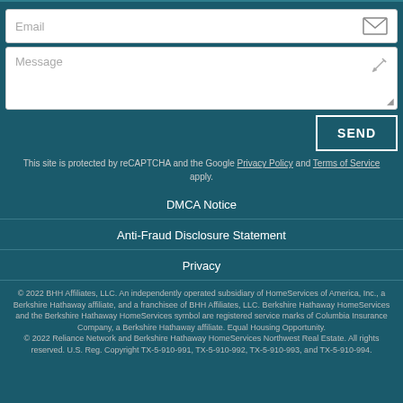Email
Message
SEND
This site is protected by reCAPTCHA and the Google Privacy Policy and Terms of Service apply.
DMCA Notice
Anti-Fraud Disclosure Statement
Privacy
© 2022 BHH Affiliates, LLC. An independently operated subsidiary of HomeServices of America, Inc., a Berkshire Hathaway affiliate, and a franchisee of BHH Affiliates, LLC. Berkshire Hathaway HomeServices and the Berkshire Hathaway HomeServices symbol are registered service marks of Columbia Insurance Company, a Berkshire Hathaway affiliate. Equal Housing Opportunity. © 2022 Reliance Network and Berkshire Hathaway HomeServices Northwest Real Estate. All rights reserved. U.S. Reg. Copyright TX-5-910-991, TX-5-910-992, TX-5-910-993, and TX-5-910-994.